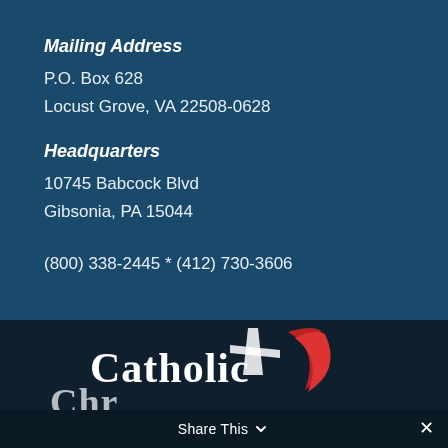Mailing Address
P.O. Box 628
Locust Grove, VA 22508-0628
Headquarters
10745 Babcock Blvd
Gibsonia, PA 15044
(800) 338-2445 * (412) 730-3606
[Figure (logo): Catholic logo with red swoosh and white cross/sword shape at the bottom of the page]
Share This ×